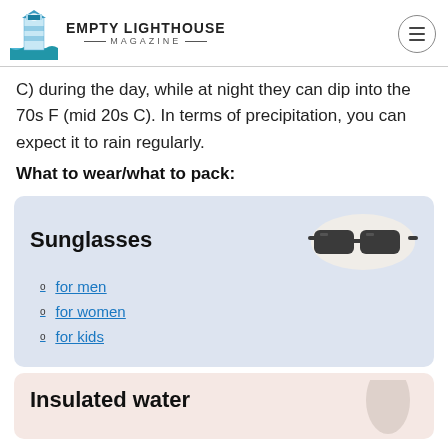EMPTY LIGHTHOUSE MAGAZINE
C) during the day, while at night they can dip into the 70s F (mid 20s C). In terms of precipitation, you can expect it to rain regularly.
What to wear/what to pack:
[Figure (illustration): Blue card showing Sunglasses product with links for men, women, and kids]
[Figure (illustration): Pink card showing Insulated water (bottle) product, partially visible]